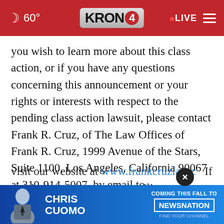60° KRON 4 LIVE
you wish to learn more about this class action, or if you have any questions concerning this announcement or your rights or interests with respect to the pending class action lawsuit, please contact Frank R. Cruz, of The Law Offices of Frank R. Cruz, 1999 Avenue of the Stars, Suite 1100, Los Angeles, California 90067 at 310-914-5007, by email to info@frankcruzlaw.com, or visit our website at www.frankcruzlaw.com.  If you in [mailing] addre[ss, telephone number, and number of]
[Figure (screenshot): Chris Cuomo Coming This Fall to NewsNation advertisement banner at bottom of screen]